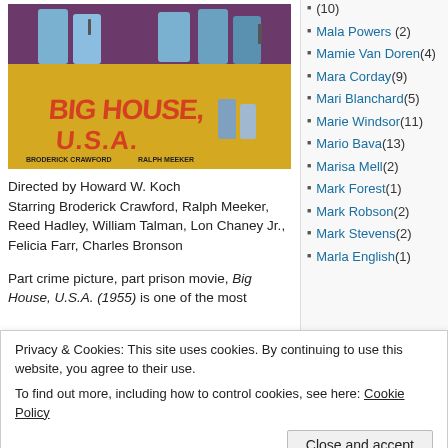[Figure (photo): Movie poster for 'Big House, U.S.A.' featuring Broderick Crawford and Ralph Meeker, with dramatic film noir styling.]
Directed by Howard W. Koch
Starring Broderick Crawford, Ralph Meeker, Reed Hadley, William Talman, Lon Chaney Jr., Felicia Farr, Charles Bronson
Part crime picture, part prison movie, Big House, U.S.A. (1955) is one of the most...
(10)
Mala Powers (2)
Mamie Van Doren (4)
Mara Corday (9)
Mari Blanchard (5)
Marie Windsor (11)
Mario Bava (13)
Marisa Mell (2)
Mark Forest (1)
Mark Robson (2)
Mark Stevens (2)
Marla English (1)
Privacy & Cookies: This site uses cookies. By continuing to use this website, you agree to their use.
To find out more, including how to control cookies, see here: Cookie Policy
Close and accept
leads has his face and fingertips seared off with